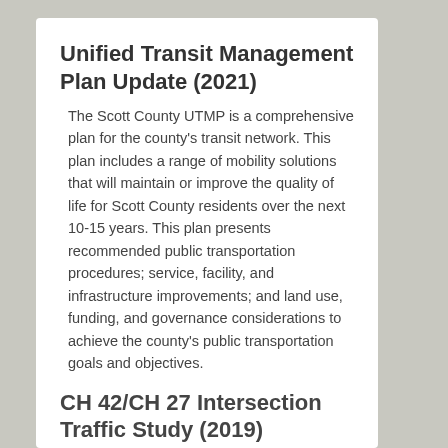Unified Transit Management Plan Update (2021)
The Scott County UTMP is a comprehensive plan for the county's transit network. This plan includes a range of mobility solutions that will maintain or improve the quality of life for Scott County residents over the next 10-15 years. This plan presents recommended public transportation procedures; service, facility, and infrastructure improvements; and land use, funding, and governance considerations to achieve the county's public transportation goals and objectives.
CH 42/CH 27 Intersection Traffic Study (2019)
The purpose of this traffic study was to conduct intersection safety/capacity